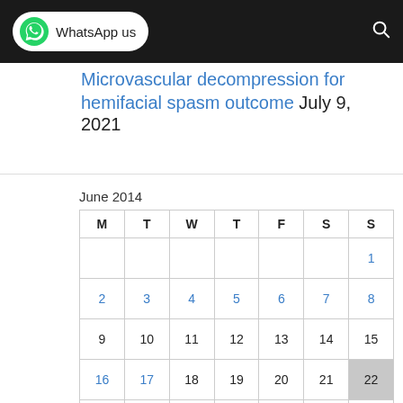WhatsApp us
Microvascular decompression for hemifacial spasm outcome July 9, 2021
| M | T | W | T | F | S | S |
| --- | --- | --- | --- | --- | --- | --- |
|  |  |  |  |  |  | 1 |
| 2 | 3 | 4 | 5 | 6 | 7 | 8 |
| 9 | 10 | 11 | 12 | 13 | 14 | 15 |
| 16 | 17 | 18 | 19 | 20 | 21 | 22 |
| 23 | 24 | 25 | 26 | 27 | 28 | 29 |